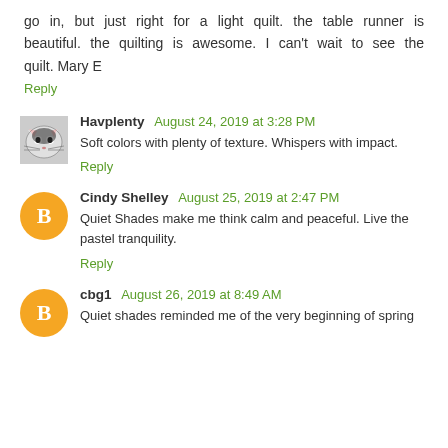go in, but just right for a light quilt. the table runner is beautiful. the quilting is awesome. I can't wait to see the quilt. Mary E
Reply
Havplenty August 24, 2019 at 3:28 PM
Soft colors with plenty of texture. Whispers with impact.
Reply
Cindy Shelley August 25, 2019 at 2:47 PM
Quiet Shades make me think calm and peaceful. Live the pastel tranquility.
Reply
cbg1 August 26, 2019 at 8:49 AM
Quiet shades reminded me of the very beginning of spring